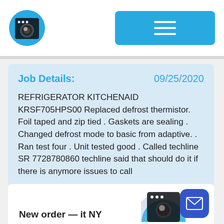[Figure (logo): Blue circular washing machine app icon]
[Figure (other): Blue rounded rectangle menu button with three horizontal white lines (hamburger icon)]
Job Details:
09/25/2020
REFRIGERATOR KITCHENAID KRSF705HPS00 Replaced defrost thermistor. Foil taped and zip tied . Gaskets are sealing . Changed defrost mode to basic from adaptive. . Ran test four . Unit tested good . Called techline SR 7728780860 techline said that should do it if there is anymore issues to call
New order — it NY